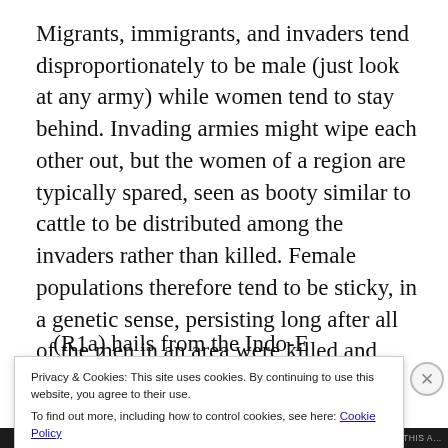Migrants, immigrants, and invaders tend disproportionately to be male (just look at any army) while women tend to stay behind. Invading armies might wipe each other out, but the women of a region are typically spared, seen as booty similar to cattle to be distributed among the invaders rather than killed. Female populations therefore tend to be sticky, in a genetic sense, persisting long after all of the men in an area were killed and replaced. The dominant Y-chromosome haplogroup in the
Privacy & Cookies: This site uses cookies. By continuing to use this website, you agree to their use.
To find out more, including how to control cookies, see here: Cookie Policy
Close and accept